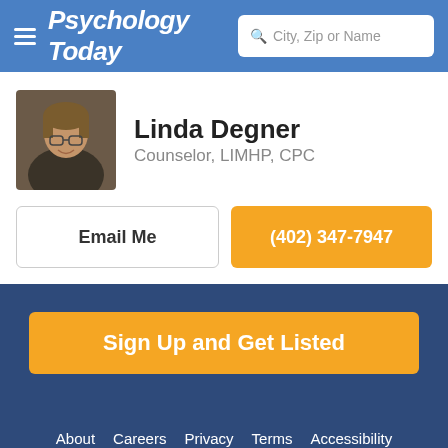Psychology Today — City, Zip or Name search
Linda Degner
Counselor, LIMHP, CPC
Email Me
(402) 347-7947
Sign Up and Get Listed
About  Careers  Privacy  Terms  Accessibility  United States  © 2022 Sussex Directories Inc.